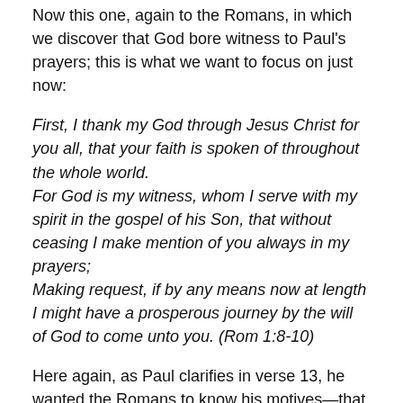Now this one, again to the Romans, in which we discover that God bore witness to Paul's prayers; this is what we want to focus on just now:
First, I thank my God through Jesus Christ for you all, that your faith is spoken of throughout the whole world. For God is my witness, whom I serve with my spirit in the gospel of his Son, that without ceasing I make mention of you always in my prayers; Making request, if by any means now at length I might have a prosperous journey by the will of God to come unto you. (Rom 1:8-10)
Here again, as Paul clarifies in verse 13, he wanted the Romans to know his motives—that he had not been unmindful of them, in fact had often wanted to come to them but had been hindered from coming. And who better to vouch for one's motives than God Himself? And so he